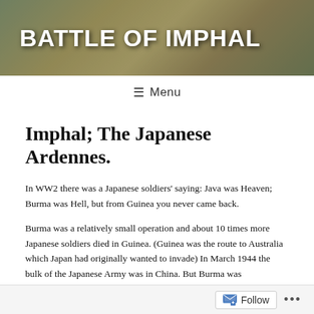BATTLE OF IMPHAL
≡ Menu
Imphal; The Japanese Ardennes.
In WW2 there was a Japanese soldiers' saying: Java was Heaven; Burma was Hell, but from Guinea you never came back.
Burma was a relatively small operation and about 10 times more Japanese soldiers died in Guinea. (Guinea was the route to Australia which Japan had originally wanted to invade) In March 1944 the bulk of the Japanese Army was in China. But Burma was
Follow ...